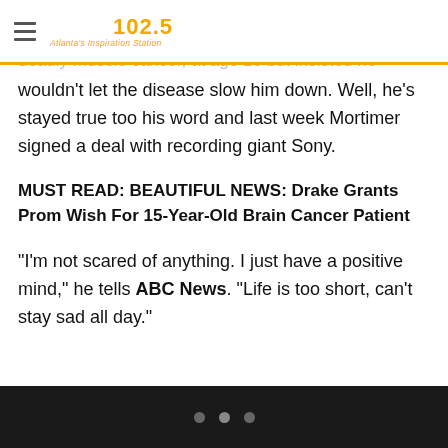Praise 102.5 — Atlanta's Inspiration Station
…Smith was diagnosed with spindle cell sarcoma, a deadly muscle cancer, at age 16 but insisted he wouldn't let the disease slow him down. Well, he's stayed true too his word and last week Mortimer signed a deal with recording giant Sony.
MUST READ: BEAUTIFUL NEWS: Drake Grants Prom Wish For 15-Year-Old Brain Cancer Patient
“I’m not scared of anything. I just have a positive mind,” he tells ABC News. “Life is too short, can’t stay sad all day.”
• • •